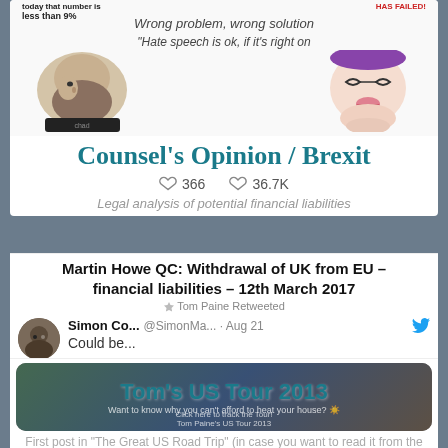[Figure (screenshot): Screenshot of a social media/blog page showing multiple tweet cards and blog post previews about Brexit Counsel's Opinion, Martin Howe QC withdrawal article, Simon Co tweet, and Tom's US Tour 2013 blog post. Contains meme images at top, tweet interactions, and overlapping content.]
Counsel's Opinion / Brexit
Legal analysis of potential financial liabilities
Martin Howe QC: Withdrawal of UK from EU – financial liabilities – 12th March 2017
Tom Paine Retweeted
Simon Co... @SimonMa... · Aug 21
Could be...
Tom's US Tour 2013
First post in "The Great US Road Trip" (in case you want to read it from the beginning)
Click here to track the Tour!
Tom Paine's US Tour 2013